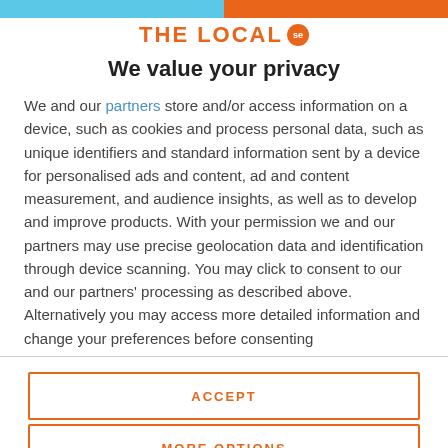THE LOCAL se
We value your privacy
We and our partners store and/or access information on a device, such as cookies and process personal data, such as unique identifiers and standard information sent by a device for personalised ads and content, ad and content measurement, and audience insights, as well as to develop and improve products. With your permission we and our partners may use precise geolocation data and identification through device scanning. You may click to consent to our and our partners' processing as described above. Alternatively you may access more detailed information and change your preferences before consenting
ACCEPT
MORE OPTIONS
way out for a stroll on Galgeberget (the Gallows